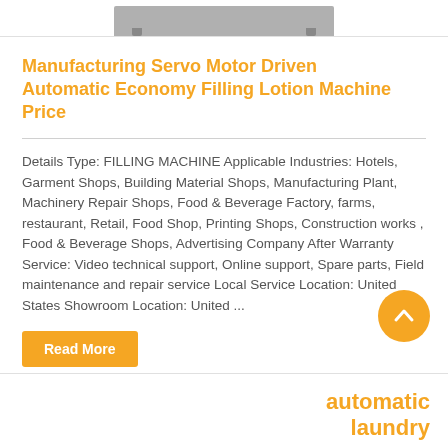[Figure (photo): Partial view of a filling machine at the top of the page]
Manufacturing Servo Motor Driven Automatic Economy Filling Lotion Machine Price
Details Type: FILLING MACHINE Applicable Industries: Hotels, Garment Shops, Building Material Shops, Manufacturing Plant, Machinery Repair Shops, Food & Beverage Factory, farms, restaurant, Retail, Food Shop, Printing Shops, Construction works , Food & Beverage Shops, Advertising Company After Warranty Service: Video technical support, Online support, Spare parts, Field maintenance and repair service Local Service Location: United States Showroom Location: United ...
Read More
automatic laundry